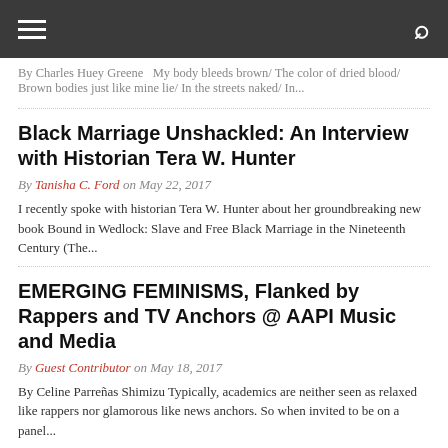≡  🔍
By Charles Huey Greene  My body bleeds brown/ The color of dried blood/ Brown bodies just like mine lie/ In the streets naked/ In...
Black Marriage Unshackled: An Interview with Historian Tera W. Hunter
By Tanisha C. Ford on May 22, 2017
I recently spoke with historian Tera W. Hunter about her groundbreaking new book Bound in Wedlock: Slave and Free Black Marriage in the Nineteenth Century (The...
EMERGING FEMINISMS, Flanked by Rappers and TV Anchors @ AAPI Music and Media
By Guest Contributor on May 18, 2017
By Celine Parreñas Shimizu Typically, academics are neither seen as relaxed like rappers nor glamorous like news anchors. So when invited to be on a panel...